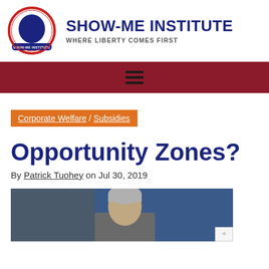SHOW-ME INSTITUTE — WHERE LIBERTY COMES FIRST
Corporate Welfare / Subsidies
Opportunity Zones?
By Patrick Tuohey on Jul 30, 2019
[Figure (photo): Photo of a gray-haired man speaking, shown from chest up against a blue background]